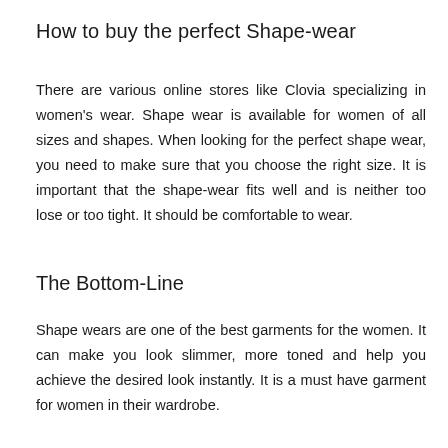How to buy the perfect Shape-wear
There are various online stores like Clovia specializing in women's wear. Shape wear is available for women of all sizes and shapes. When looking for the perfect shape wear, you need to make sure that you choose the right size. It is important that the shape-wear fits well and is neither too lose or too tight. It should be comfortable to wear.
The Bottom-Line
Shape wears are one of the best garments for the women. It can make you look slimmer, more toned and help you achieve the desired look instantly. It is a must have garment for women in their wardrobe.